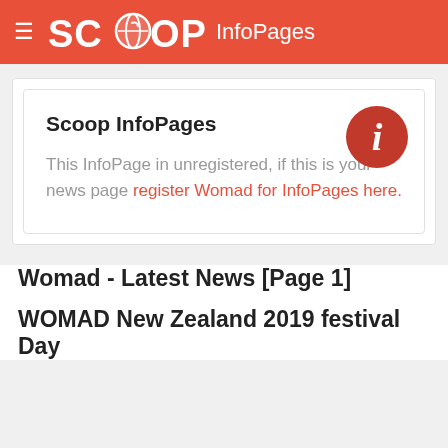SCOOP InfoPages
Scoop InfoPages
This InfoPage in unregistered, if this is your news page register Womad for InfoPages here.
Womad - Latest News [Page 1]
WOMAD New Zealand 2019 festival Day